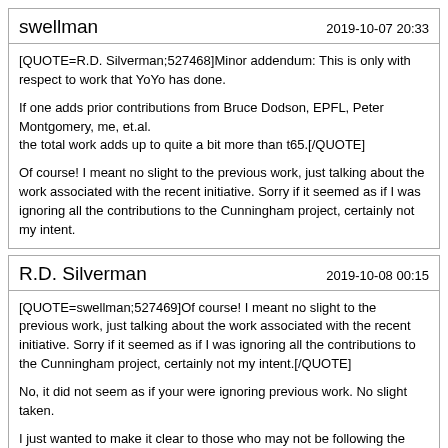swellman — 2019-10-07 20:33
[QUOTE=R.D. Silverman;527468]Minor addendum: This is only with respect to work that YoYo has done.

If one adds prior contributions from Bruce Dodson, EPFL, Peter Montgomery, me, et.al.
the total work adds up to quite a bit more than t65.[/QUOTE]

Of course! I meant no slight to the previous work, just talking about the work associated with the recent initiative. Sorry if it seemed as if I was ignoring all the contributions to the Cunningham project, certainly not my intent.
R.D. Silverman — 2019-10-08 00:15
[QUOTE=swellman;527469]Of course! I meant no slight to the previous work, just talking about the work associated with the recent initiative. Sorry if it seemed as if I was ignoring all the contributions to the Cunningham project, certainly not my intent.[/QUOTE]

No, it did not seem as if your were ignoring previous work. No slight taken.

I just wanted to make it clear to those who may not be following the work that